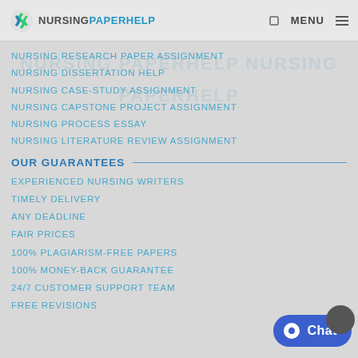NURSINGPAPERHELP | MENU
NURSING RESEARCH PAPER ASSIGNMENT
NURSING DISSERTATION HELP
NURSING CASE-STUDY ASSIGNMENT
NURSING CAPSTONE PROJECT ASSIGNMENT
NURSING PROCESS ESSAY
NURSING LITERATURE REVIEW ASSIGNMENT
OUR GUARANTEES
EXPERIENCED NURSING WRITERS
TIMELY DELIVERY
ANY DEADLINE
FAIR PRICES
100% PLAGIARISM-FREE PAPERS
100% MONEY-BACK GUARANTEE
24/7 CUSTOMER SUPPORT TEAM
FREE REVISIONS